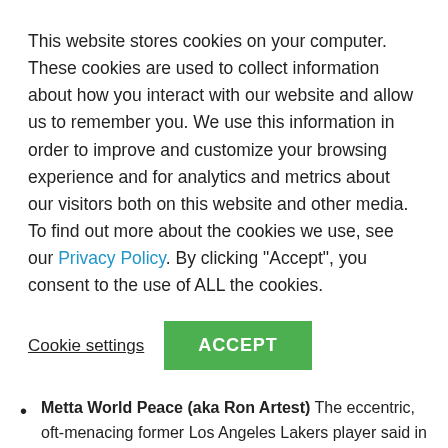This website stores cookies on your computer. These cookies are used to collect information about how you interact with our website and allow us to remember you. We use this information in order to improve and customize your browsing experience and for analytics and metrics about our visitors both on this website and other media. To find out more about the cookies we use, see our Privacy Policy. By clicking "Accept", you consent to the use of ALL the cookies.
Cookie settings | ACCEPT
trailer to cater his 92nd birthday party in 1995. He is said to have driven regularly to a local In-N-Out well into his nineties.
Metta World Peace (aka Ron Artest) The eccentric, oft-menacing former Los Angeles Lakers player said in 2011 that he was mad about being ejected from a game, because "I could've bought 10,000 In-N-Out burgers" with the fine levied by the league. He confessed that proximity